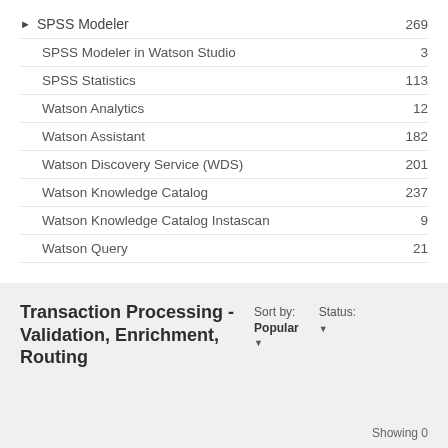SPSS Modeler  269
SPSS Modeler in Watson Studio  3
SPSS Statistics  113
Watson Analytics  12
Watson Assistant  182
Watson Discovery Service (WDS)  201
Watson Knowledge Catalog  237
Watson Knowledge Catalog Instascan  9
Watson Query  21
Transaction Processing - Validation, Enrichment, Routing
Sort by: Popular ▼
Status:
Showing 0